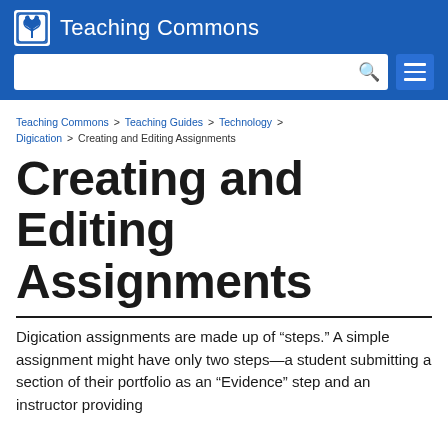Teaching Commons
Teaching Commons > Teaching Guides > Technology > Digication > Creating and Editing Assignments
Creating and Editing Assignments
Digication assignments are made up of “steps.” A simple assignment might have only two steps—a student submitting a section of their portfolio as an “Evidence” step and an instructor providing